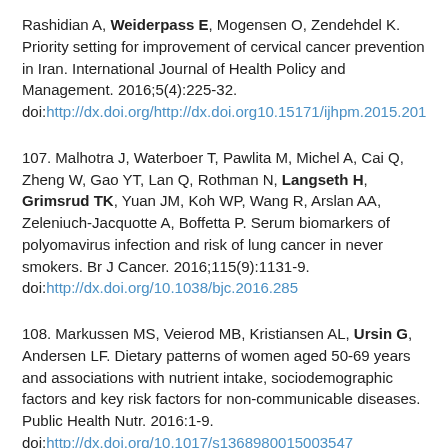Rashidian A, Weiderpass E, Mogensen O, Zendehdel K. Priority setting for improvement of cervical cancer prevention in Iran. International Journal of Health Policy and Management. 2016;5(4):225-32. doi:http://dx.doi.org/http://dx.doi.org10.15171/ijhpm.2015.201
107. Malhotra J, Waterboer T, Pawlita M, Michel A, Cai Q, Zheng W, Gao YT, Lan Q, Rothman N, Langseth H, Grimsrud TK, Yuan JM, Koh WP, Wang R, Arslan AA, Zeleniuch-Jacquotte A, Boffetta P. Serum biomarkers of polyomavirus infection and risk of lung cancer in never smokers. Br J Cancer. 2016;115(9):1131-9. doi:http://dx.doi.org/10.1038/bjc.2016.285
108. Markussen MS, Veierod MB, Kristiansen AL, Ursin G, Andersen LF. Dietary patterns of women aged 50-69 years and associations with nutrient intake, sociodemographic factors and key risk factors for non-communicable diseases. Public Health Nutr. 2016:1-9. doi:http://dx.doi.org/10.1017/s1368980015003547